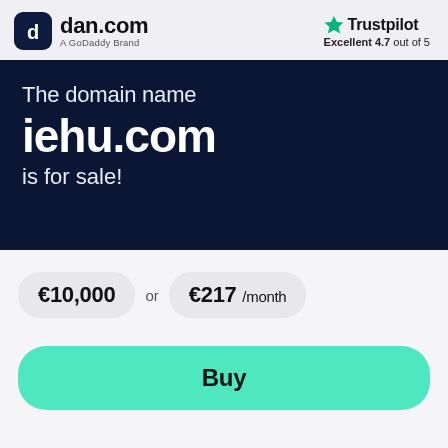[Figure (logo): dan.com logo with rounded square icon and text 'dan.com' with 'A GoDaddy Brand' subtitle]
[Figure (logo): Trustpilot logo with green star and 'Excellent 4.7 out of 5' rating]
The domain name iehu.com is for sale!
€10,000 or €217 /month
Buy